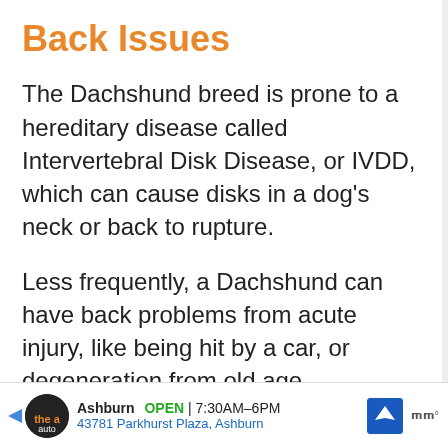Back Issues
The Dachshund breed is prone to a hereditary disease called Intervertebral Disk Disease, or IVDD, which can cause disks in a dog’s neck or back to rupture.
Less frequently, a Dachshund can have back problems from acute injury, like being hit by a car, or degeneration from old age.
Ashburn OPEN 7:30AM–6PM 43781 Parkhurst Plaza, Ashburn